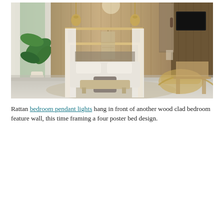[Figure (photo): Interior bedroom photo showing a boho-style room with a four poster bed with white canopy drapes, wood-clad feature wall, rattan pendant lights, a large tropical plant, rattan chair, textured rug, and sliding barn door.]
Rattan bedroom pendant lights hang in front of another wood clad bedroom feature wall, this time framing a four poster bed design.